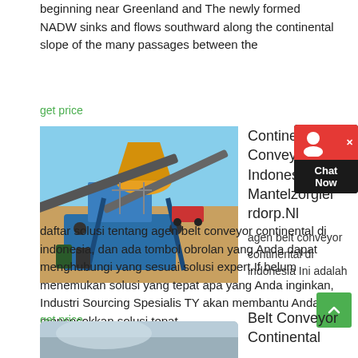beginning near Greenland and The newly formed NADW sinks and flows southward along the continental slope of the many passages between the
get price
[Figure (photo): Industrial belt conveyor machinery at a construction or mining site, featuring yellow and blue heavy equipment.]
Continental Belt Conveyor Indonesia Mantelzorglei rdorp.Nl
agen belt conveyor continental di indonesia Ini adalah daftar solusi tentang agen belt conveyor continental di indonesia, dan ada tombol obrolan yang Anda dapat menghubungi yang sesuai solusi expert.If belum menemukan solusi yang tepat apa yang Anda inginkan, Industri Sourcing Spesialis TY akan membantu Anda mencocokkan solusi tepat.
get price
[Figure (photo): Partial view of a belt conveyor image at the bottom of the page.]
Belt Conveyor Continental